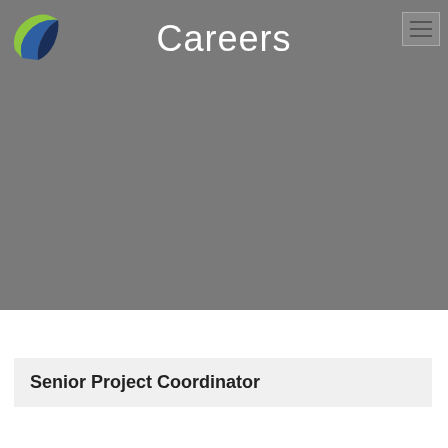[Figure (logo): Circular logo with blue, green, and navy layered swoosh segments on the left side of the header]
Careers
[Figure (other): Hamburger menu icon (three horizontal lines) in a square box in the top right corner]
Senior Project Coordinator